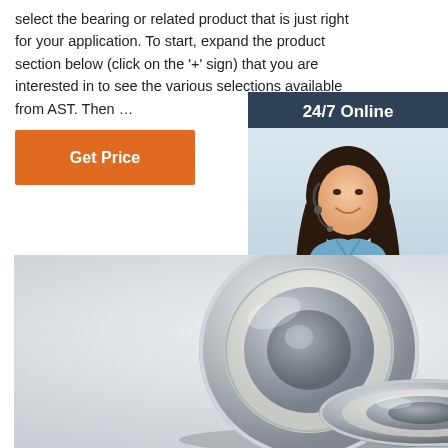select the bearing or related product that is just right for your application. To start, expand the product section below (click on the '+' sign) that you are interested in to see the various selections available from AST. Then …
[Figure (other): Orange 'Get Price' button]
[Figure (other): Sidebar with '24/7 Online' header, photo of a woman with headset, italic text 'Click here for free chat!', and orange 'QUOTATION' button on dark blue background]
[Figure (photo): Product photo showing two shiny metal ball bearings on a white/gray background]